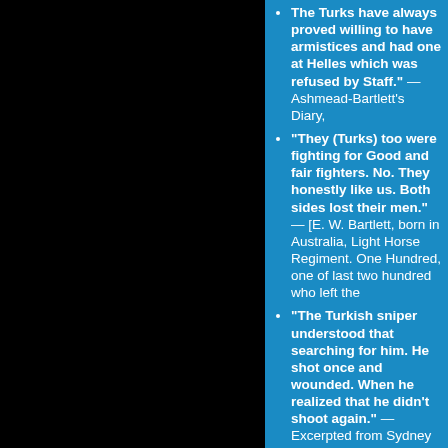The Turks have always proved willing to have armistices and had one at Helles which was refused by Staff. — Ashmead-Bartlett's Diary,
"They (Turks) too were fighting for Good and fair fighters. No. They honestly like us. Both sides lost men." — [E. W. Bartlett, born in Au Light Horse Regiment. One Hundred one of last two hundred who left the
"The Turkish sniper understood searching for him. He shot once a wounded. When he realized that didn't shoot again." — Excerpted from Sydney Alexander N correspondent during the Gallipoli C
"After the terrible punishment inf brave but futile assaults all bitter Turks displayed an admirable ma morning onwards the attitude of towards the individual Turks was opponents in a friendly game." — the Australian official historian, The Sydney, 1924, p.162 ].
"The Anzacs left Gallipoli without for their own bitter